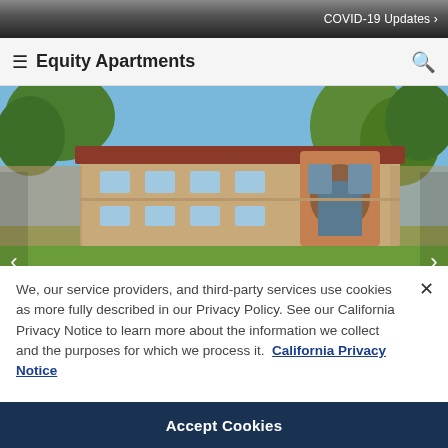COVID-19 Updates ›
≡ Equity Apartments
[Figure (photo): Exterior photo of an apartment complex with Mediterranean-style architecture, terracotta roof, arched entrance gate, stucco walls, and surrounding trees under a blue sky.]
We, our service providers, and third-party services use cookies as more fully described in our Privacy Policy. See our California Privacy Notice to learn more about the information we collect and the purposes for which we process it. California Privacy Notice
Do Not Sell My Personal Information/Manage Cookies
Accept Cookies